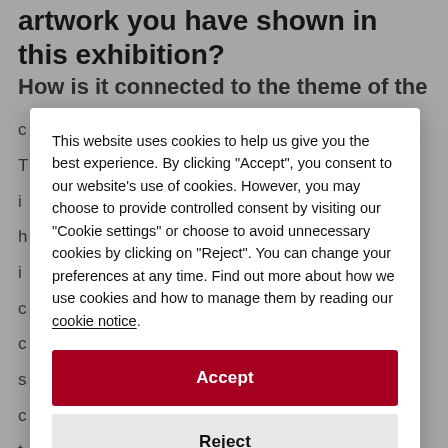artwork you have shown in this exhibition?
How is it connected to the theme of the
This website uses cookies to help us give you the best experience. By clicking "Accept", you consent to our website's use of cookies. However, you may choose to provide controlled consent by visiting our "Cookie settings" or choose to avoid unnecessary cookies by clicking on "Reject". You can change your preferences at any time. Find out more about how we use cookies and how to manage them by reading our cookie notice.
Accept
Reject
Cookie settings